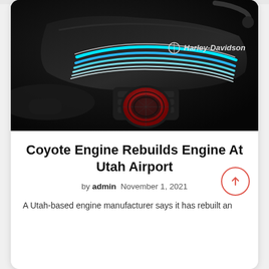[Figure (photo): Close-up photo of a black Harley-Davidson motorcycle fuel tank with teal/blue pinstripe lines and the Harley-Davidson logo, with engine visible below in dark moody lighting.]
Coyote Engine Rebuilds Engine At Utah Airport
by admin  November 1, 2021
A Utah-based engine manufacturer says it has rebuilt an